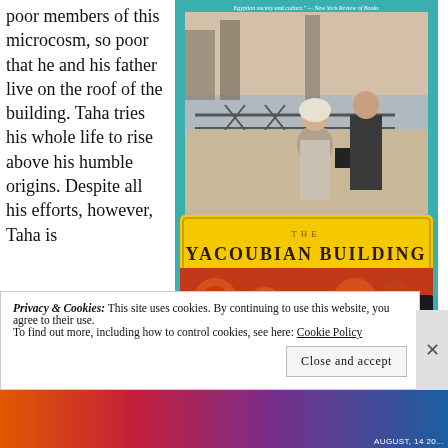poor members of this microcosm, so poor that he and his father live on the roof of the building. Taha tries his whole life to rise above his humble origins. Despite all his efforts, however, Taha is
[Figure (photo): Book cover of 'The Yacoubian Building, A Novel' by Alaa Al Aswany. Shows two figures standing at a railing overlooking water, with a yellow decorative banner displaying the title in the lower half and ornate red/orange floral pattern background.]
Privacy & Cookies: This site uses cookies. By continuing to use this website, you agree to their use.
To find out more, including how to control cookies, see here: Cookie Policy
Close and accept